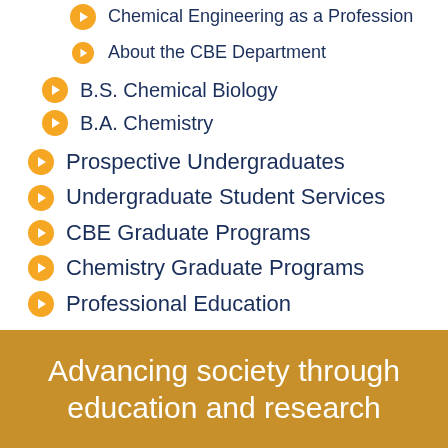Chemical Engineering as a Profession
About the CBE Department
B.S. Chemical Biology
B.A. Chemistry
Prospective Undergraduates
Undergraduate Student Services
CBE Graduate Programs
Chemistry Graduate Programs
Professional Education
Guiding Outstanding Learners to Discover© (GOLD)
Advancing society through education and research